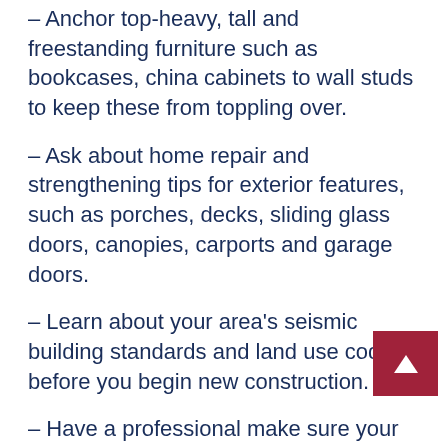– Anchor top-heavy, tall and freestanding furniture such as bookcases, china cabinets to wall studs to keep these from toppling over.
– Ask about home repair and strengthening tips for exterior features, such as porches, decks, sliding glass doors, canopies, carports and garage doors.
– Learn about your area's seismic building standards and land use codes before you begin new construction.
– Have a professional make sure your home is securely anchored to its foundation, as well as strengthening tips for exterior features, such as porches, decks, sliding glass doors, canopies, carports and garage doors.